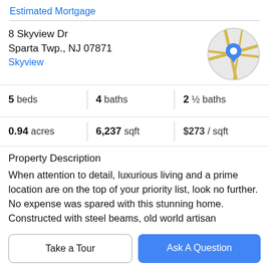Estimated Mortgage
8 Skyview Dr
Sparta Twp., NJ 07871
Skyview
[Figure (map): Circular map thumbnail showing road map with blue location pin marker]
5 beds | 4 baths | 2 ½ baths
0.94 acres | 6,237 sqft | $273 / sqft
Property Description
When attention to detail, luxurious living and a prime location are on the top of your priority list, look no further. No expense was spared with this stunning home. Constructed with steel beams, old world artisan craftsmanship and architectural detail throughout. This
Take a Tour
Ask A Question